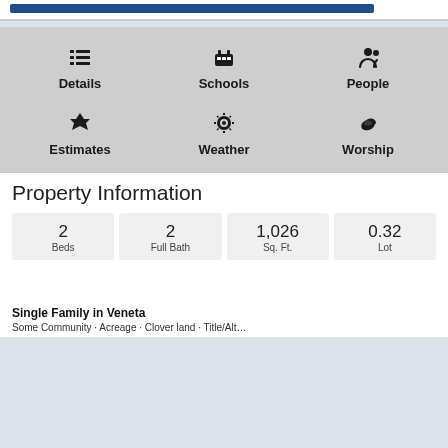[Figure (screenshot): Navigation menu with blue bar at top]
Details
Schools
People
Estimates
Weather
Worship
Property Information
2 Beds
2 Full Bath
1,026 Sq. Ft.
0.32 Lot
Single Family in Veneta